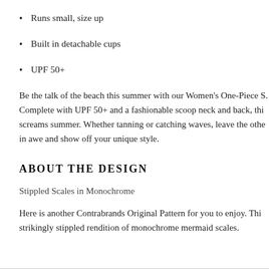Runs small, size up
Built in detachable cups
UPF 50+
Be the talk of the beach this summer with our Women's One-Piece S. Complete with UPF 50+ and a fashionable scoop neck and back, this screams summer. Whether tanning or catching waves, leave the others in awe and show off your unique style.
ABOUT THE DESIGN
Stippled Scales in Monochrome
Here is another Contrabrands Original Pattern for you to enjoy. This strikingly stippled rendition of monochrome mermaid scales.